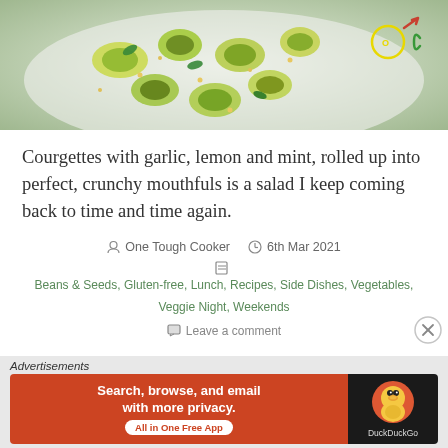[Figure (photo): Overhead photo of courgette rolls with garlic, lemon and mint on a white plate, with a food blog logo overlay in top right corner]
Courgettes with garlic, lemon and mint, rolled up into perfect, crunchy mouthfuls is a salad I keep coming back to time and time again.
One Tough Cooker   6th Mar 2021
Beans & Seeds, Gluten-free, Lunch, Recipes, Side Dishes, Vegetables, Veggie Night, Weekends
Leave a comment
Advertisements
[Figure (screenshot): DuckDuckGo advertisement banner: Search, browse, and email with more privacy. All in One Free App.]